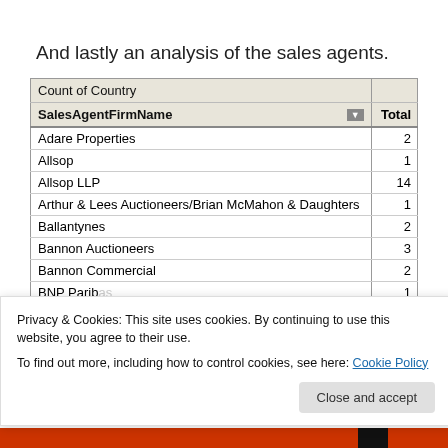And lastly an analysis of the sales agents.
| SalesAgentFirmName | Total |
| --- | --- |
| Adare Properties | 2 |
| Allsop | 1 |
| Allsop LLP | 14 |
| Arthur & Lees Auctioneers/Brian McMahon & Daughters | 1 |
| Ballantynes | 2 |
| Bannon Auctioneers | 3 |
| Bannon Commercial | 2 |
| BNP Paribas | 1 |
Privacy & Cookies: This site uses cookies. By continuing to use this website, you agree to their use.
To find out more, including how to control cookies, see here: Cookie Policy